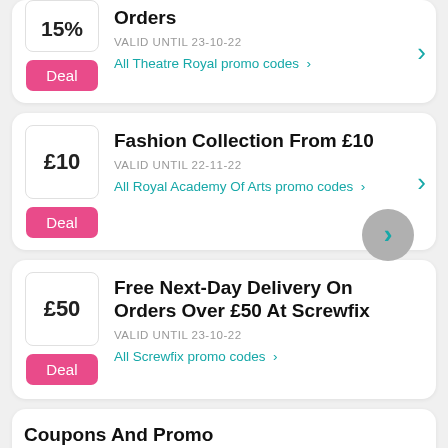15% Orders - VALID UNTIL 23-10-22 - All Theatre Royal promo codes
Fashion Collection From £10 - VALID UNTIL 22-11-22 - All Royal Academy Of Arts promo codes
Free Next-Day Delivery On Orders Over £50 At Screwfix - VALID UNTIL 23-10-22 - All Screwfix promo codes
Coupons And Promo